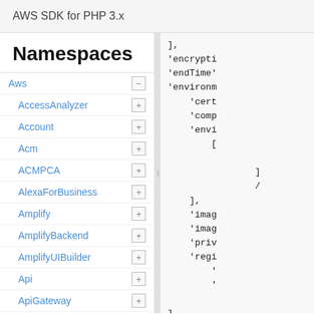AWS SDK for PHP 3.x
Namespaces
Aws
AccessAnalyzer
Account
Acm
ACMPCA
AlexaForBusiness
Amplify
AmplifyBackend
AmplifyUIBuilder
Api
ApiGateway
ApiGatewayManagementApi
],
'encrypti
'endTime'
'environm
    'cert
    'comp
    'envi
        [

                ]
                /
    ],
    'imag
    'imag
    'priv
    'regi
        '
        '

],